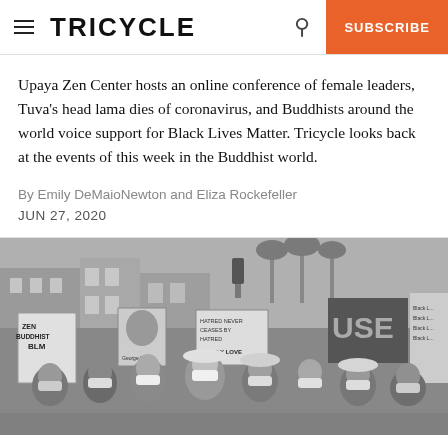TRICYCLE | SUBSCRIBE
Upaya Zen Center hosts an online conference of female leaders, Tuva's head lama dies of coronavirus, and Buddhists around the world voice support for Black Lives Matter. Tricycle looks back at the events of this week in the Buddhist world.
By Emily DeMaioNewton and Eliza Rockefeller
JUN 27, 2020
[Figure (photo): Black and white photograph of a large crowd of people wearing face masks marching in a Black Lives Matter protest, holding signs including 'ZEN BUDDHIST BLM', 'HATRED NEVER CEASES BY HATRED', 'ONLY LOVE', and other protest signs. The march takes place on a city street with buildings and palm trees visible in the background.]